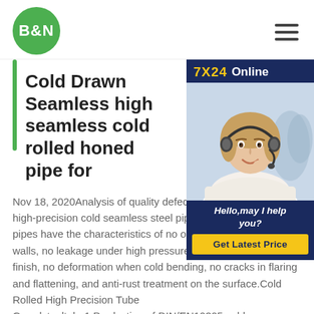B&N [logo] | hamburger menu
Cold Drawn Seamless high seamless cold rolled honed pipe for
[Figure (photo): Customer service representative woman wearing a headset, smiling, with chat widget overlay showing '7X24 Online', 'Hello,may I help you?' and a 'Get Latest Price' yellow button on dark navy background.]
Nov 18, 2020Analysis of quality defects and outer surface of high-precision cold seamless steel pipe Cold drawn seamless pipes have the characteristics of no ox the inner and outer walls, no leakage under high pressure, high precision, high finish, no deformation when cold bending, no cracks in flaring and flattening, and anti-rust treatment on the surface.Cold Rolled High Precision Tube Grandsteeltube1.Production of DIN/EN10305 cold